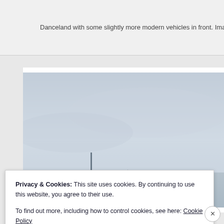Danceland with some slightly more modern vehicles in front.  Image fr
[Figure (photo): Winter outdoor scene with overcast sky, a pole, and bare tree branches visible in the lower portion of the image. The scene appears to be a parking area or exterior of a building on a grey winter day.]
Privacy & Cookies: This site uses cookies. By continuing to use this website, you agree to their use.
To find out more, including how to control cookies, see here: Cookie Policy
Close and accept